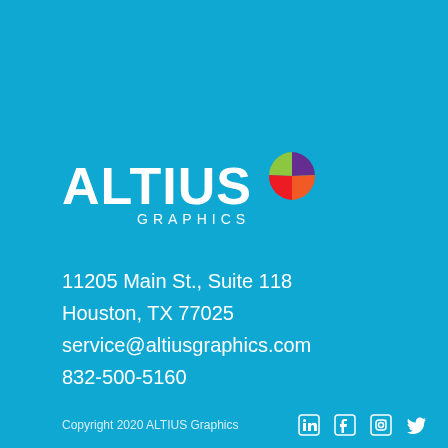[Figure (logo): ALTIUS GRAPHICS logo: white bold text 'ALTIUS' with colorful pie-wedge icon (green, purple, orange, red segments) above 'GRAPHICS' in white smaller text]
11205 Main St., Suite 118
Houston, TX 77025
service@altiusgraphics.com
832-500-5160
Copyright 2020 ALTIUS Graphics